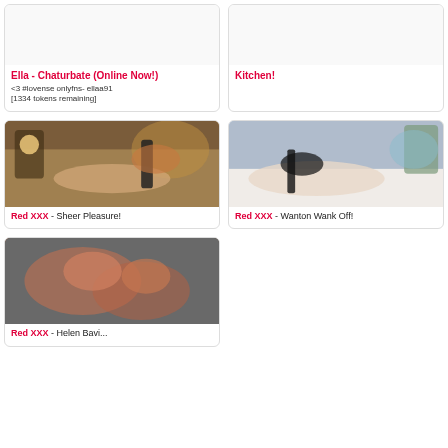Ella - Chaturbate (Online Now!)
<3 #lovense onlyfns- ellaa91 [1334 tokens remaining]
Kitchen!
[Figure (photo): Person on bed with dark item]
Red XXX - Sheer Pleasure!
[Figure (photo): Person in black stockings on bed]
Red XXX - Wanton Wank Off!
[Figure (photo): Two people with red hair]
Red XXX - Helen Bavi...